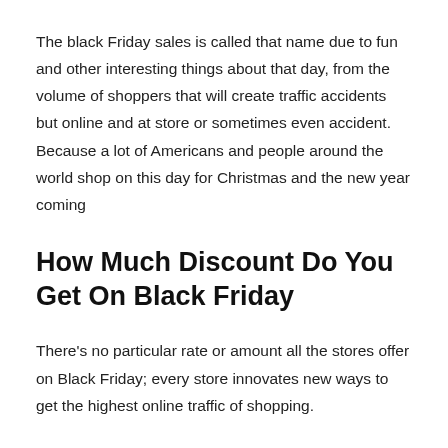The black Friday sales is called that name due to fun and other interesting things about that day, from the volume of shoppers that will create traffic accidents but online and at store or sometimes even accident. Because a lot of Americans and people around the world shop on this day for Christmas and the new year coming
How Much Discount Do You Get On Black Friday
There's no particular rate or amount all the stores offer on Black Friday; every store innovates new ways to get the highest online traffic of shopping.